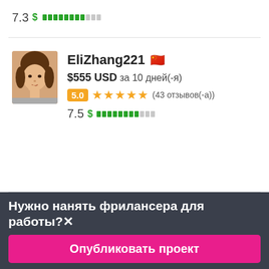7.3 $ ████████░░░
[Figure (photo): Profile photo of EliZhang221, a young Asian woman with short hair]
EliZhang221 🇨🇳
$555 USD за 10 дней(-я)
5.0 ★★★★★ (43 отзывов(-а))
7.5 $ ████████░░░
Нужно нанять фрилансера для работы?✕
Опубликовать проект